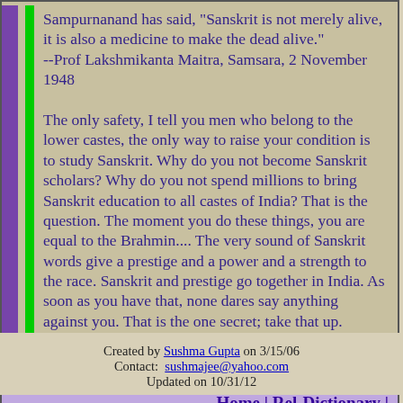Sampurnanand has said, "Sanskrit is not merely alive, it is also a medicine to make the dead alive."
--Prof Lakshmikanta Maitra, Samsara, 2 November 1948

The only safety, I tell you men who belong to the lower castes, the only way to raise your condition is to study Sanskrit. Why do you not become Sanskrit scholars? Why do you not spend millions to bring Sanskrit education to all castes of India? That is the question. The moment you do these things, you are equal to the Brahmin.... The very sound of Sanskrit words give a prestige and a power and a strength to the race. Sanskrit and prestige go together in India. As soon as you have that, none dares say anything against you. That is the one secret; take that up.
--Swami Vivekanand at http://www.shrutifoundation.org/spoken-sanskrit
Home | Rel-Dictionary | Literature
Previous | Next
Created by Sushma Gupta on 3/15/06
Contact: sushmajee@yahoo.com
Updated on 10/31/12